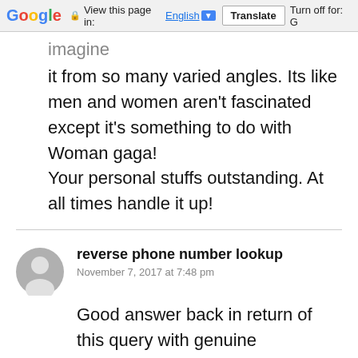Google | View this page in: English [▼] | Translate | Turn off for: G
imagine
it from so many varied angles. Its like men and women aren't fascinated except it's something to do with Woman gaga!
Your personal stuffs outstanding. At all times handle it up!
reverse phone number lookup
November 7, 2017 at 7:48 pm
Good answer back in return of this query with genuine arguments and describing everything